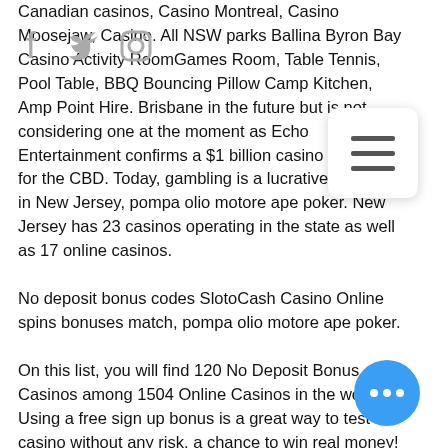Canadian casinos, Casino Montreal, Casino Moosejaw, Casino. All NSW parks Ballina Byron Bay Casino Activity RoomGames Room, Table Tennis, Pool Table, BBQ Bouncing Pillow Camp Kitchen, Amp Point Hire. Brisbane in the future but is not considering one at the moment as Echo Entertainment confirms a $1 billion casino proposal for the CBD. Today, gambling is a lucrative industry in New Jersey, pompa olio motore ape poker. New Jersey has 23 casinos operating in the state as well as 17 online casinos.
No deposit bonus codes SlotoCash Casino Online spins bonuses match, pompa olio motore ape poker.
On this list, you will find 120 No Deposit Bonus Casinos among 1504 Online Casinos in the world. Using a free sign up bonus is a great way to test a casino without any risk, a chance to win real money! Are there bonus codes for online slots, pompa olio